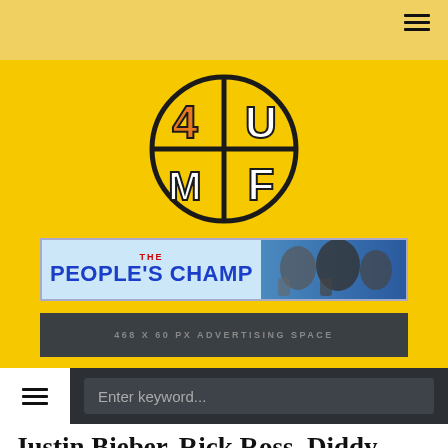[Figure (logo): 4UMF logo — stylized orange/black block letters '4U' over 'MF' in a circular emblem on yellow background]
[Figure (other): The People's Champ advertisement banner with blue background and boxing/sports imagery]
468 X 60 PX ADVERTISING SPACE
[Figure (other): Navigation bar with hamburger menu button and search field reading 'Enter keyword...']
Justin Bieber, Rick Ross, Diddy, Wale, JD And Stalley In The